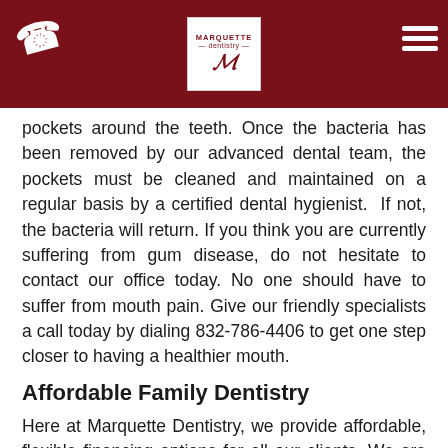Marquette Dentistry header with logo and navigation
pockets around the teeth. Once the bacteria has been removed by our advanced dental team, the pockets must be cleaned and maintained on a regular basis by a certified dental hygienist. If not, the bacteria will return. If you think you are currently suffering from gum disease, do not hesitate to contact our office today. No one should have to suffer from mouth pain. Give our friendly specialists a call today by dialing 832-786-4406 to get one step closer to having a healthier mouth.
Affordable Family Dentistry
Here at Marquette Dentistry, we provide affordable, flexible financing options for all our clients. We are committed to providing affordable, accessible, quality dental care. We believe that no one should break the bank to have the dental care that they deserve. As a result, we offer third-third-party and in-practice financing options. So you can have the smile you have always dreamed of.